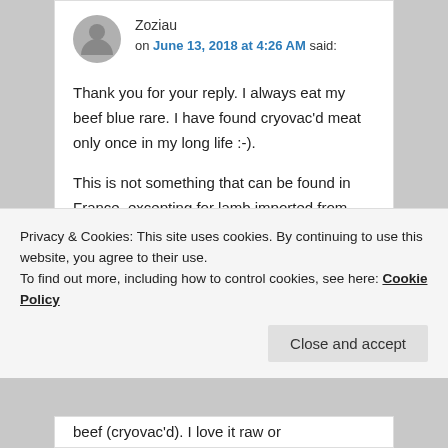Zoziau on June 13, 2018 at 4:26 AM said:
Thank you for your reply. I always eat my beef blue rare. I have found cryovac'd meat only once in my long life :-).
This is not something that can be found in France, excepting for lamb imported from New Zealand… and
Privacy & Cookies: This site uses cookies. By continuing to use this website, you agree to their use.
To find out more, including how to control cookies, see here: Cookie Policy
Close and accept
beef (cryovac'd). I love it raw or